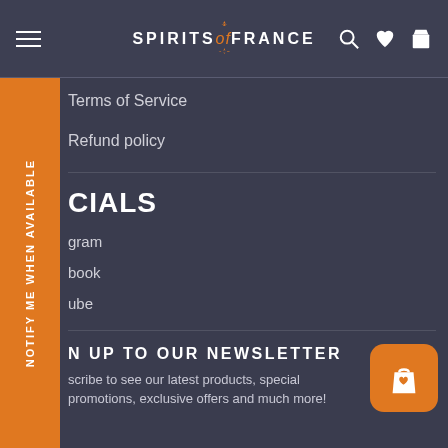SPIRITS of FRANCE
Terms of Service
Refund policy
...CIALS
...gram
...book
...ube
...N UP TO OUR NEWSLETTER
...scribe to see our latest products, special promotions, exclusive offers and much more!